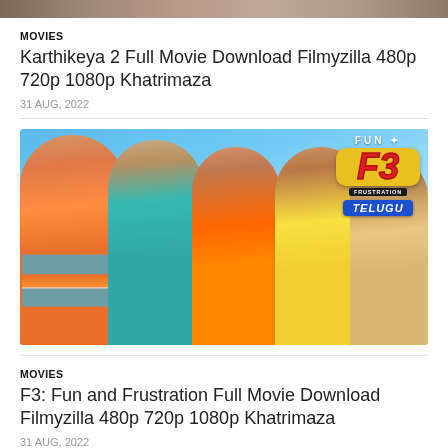[Figure (photo): Partial top image strip from previous article (cropped)]
MOVIES
Karthikeya 2 Full Movie Download Filmyzilla 480p 720p 1080p Khatrimaza
31 AUG, 2022
[Figure (photo): F3: Fun and Frustration movie poster showing cast members against a sky blue background with the F3 logo in the top right corner]
MOVIES
F3: Fun and Frustration Full Movie Download Filmyzilla 480p 720p 1080p Khatrimaza
31 AUG, 2022